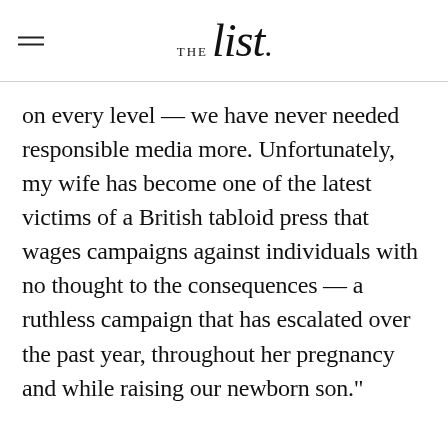THE list
on every level — we have never needed responsible media more. Unfortunately, my wife has become one of the latest victims of a British tabloid press that wages campaigns against individuals with no thought to the consequences — a ruthless campaign that has escalated over the past year, throughout her pregnancy and while raising our newborn son."